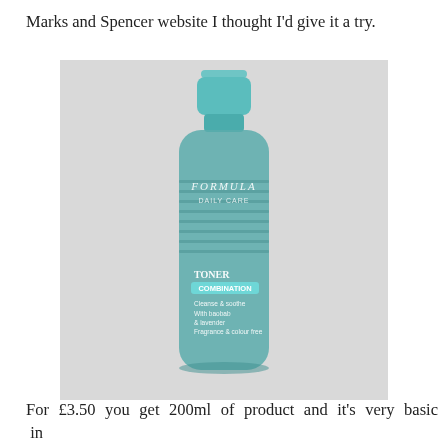Marks and Spencer website I thought I'd give it a try.
[Figure (photo): A bottle of Formula Daily Care Toner for combination skin by Marks and Spencer. The bottle is cylindrical with a teal/mint green cap and teal-tinted glass/plastic body, displayed against a light grey background.]
For £3.50 you get 200ml of product and it's very basic in